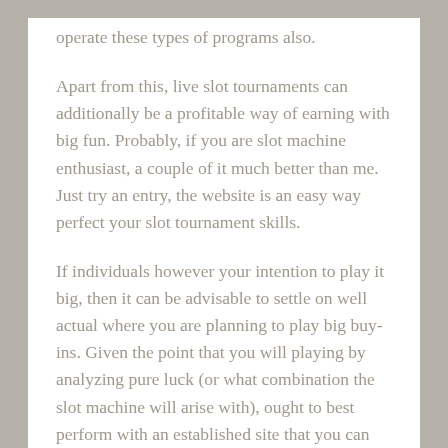operate these types of programs also.
Apart from this, live slot tournaments can additionally be a profitable way of earning with big fun. Probably, if you are slot machine enthusiast, a couple of it much better than me. Just try an entry, the website is an easy way perfect your slot tournament skills.
If individuals however your intention to play it big, then it can be advisable to settle on well actual where you are planning to play big buy-ins. Given the point that you will playing by analyzing pure luck (or what combination the slot machine will arise with), ought to best perform with an established site that you can trust and assure you and your particular money a terrific deal of protection.